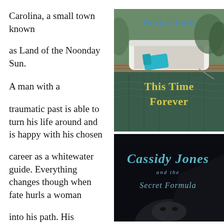Carolina, a small town known

as Land of the Noonday Sun.

A man with a

traumatic past is able to turn his life around and is happy with his chosen

career as a whitewater guide. Everything changes though when fate hurls a woman

into his path. His
[Figure (illustration): Book cover for 'This Time Forever' by Patricia Paris, showing a white boat docked at a pier with a teal/turquoise towel and items on the dock, water reflection visible, with yellow title text 'This Time Forever' and blue author name 'Patricia Paris']
[Figure (illustration): Book cover for 'Cassidy Jones and the Secret Formula' showing a dark background with stylized blue-teal title text and a partial face visible at the bottom]